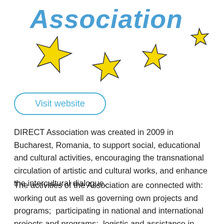[Figure (logo): DIRECT Association logo with blue italic cursive 'Association' text and four yellow stars scattered around it]
Visit website
DIRECT Association was created in 2009 in Bucharest, Romania, to support social, educational and cultural activities, encouraging the transnational circulation of artistic and cultural works, and enhance the intercultural dialogue.
The activities of the Association are connected with: working out as well as governing own projects and programs;  participating in national and international projects and programs;  logistic and assistance in